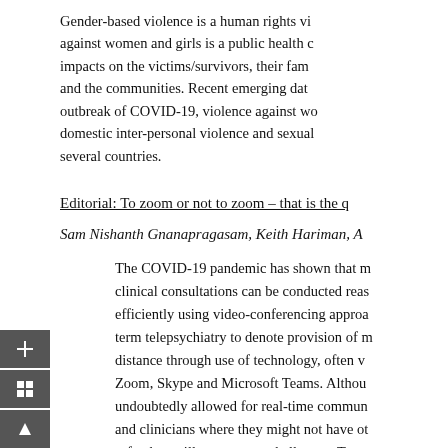Gender-based violence is a human rights violation and violence against women and girls is a public health crisis that profoundly impacts on the victims/survivors, their families and the communities. Recent emerging data indicate that since the outbreak of COVID-19, violence against women, particularly domestic inter-personal violence and sexual violence, has risen in several countries.
Editorial: To zoom or not to zoom – that is the question
Sam Nishanth Gnanapragasam, Keith Hariman, A...
The COVID-19 pandemic has shown that many clinical consultations can be conducted reasonably efficiently using video-conferencing approaches. We use the term telepsychiatry to denote provision of mental healthcare at a distance through use of technology, often via platforms such as Zoom, Skype and Microsoft Teams. Although telepsychiatry has undoubtedly allowed for real-time communication between patients and clinicians where they might not have otherwise been safe, they still carry many challenges. Two...